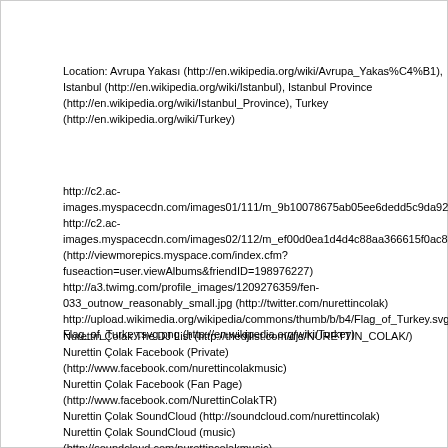Location: Avrupa Yakası (http://en.wikipedia.org/wiki/Avrupa_Yakas%C4%B1), Istanbul (http://en.wikipedia.org/wiki/Istanbul), Istanbul Province (http://en.wikipedia.org/wiki/Istanbul_Province), Turkey (http://en.wikipedia.org/wiki/Turkey)
http://c2.ac-images.myspacecdn.com/images01/111/m_9b10078675ab05ee6dedd5c9da92a98d.jp http://c2.ac-images.myspacecdn.com/images02/112/m_ef00d0ea1d4d4c88aa366615f0ac8895.jpg (http://viewmorepics.myspace.com/index.cfm?fuseaction=user.viewAlbums&friendID=198976227) http://a3.twimg.com/profile_images/1209276359/fen-033_outnow_reasonably_small.jpg (http://twitter.com/nurettincolak) http://upload.wikimedia.org/wikipedia/commons/thumb/b/b4/Flag_of_Turkey.svg/125px-Flag_of_Turkey.svg.png (http://en.wikipedia.org/wiki/Turkey)
Nurettin Çolak The DJ List (http://thedjlist.com/djs/NURETTIN_COLAK/) Nurettin Çolak Facebook (Private) (http://www.facebook.com/nurettincolakmusic) Nurettin Çolak Facebook (Fan Page) (http://www.facebook.com/NurettinColakTR) Nurettin Çolak SoundCloud (http://soundcloud.com/nurettincolak) Nurettin Çolak SoundCloud (music) (http://soundcloud.com/nurettincolakmusic) Nurettin Çolak Twitter (http://twitter.com/nurettincolak) Nurettin Çolak MySpace (http://www.myspace.com/nurettincolak) http://forum.ah.fm/members/2215-nurettin_colak/ (http://forum.ah.fm/members/2215-nurettin_colak/) :ah: (http://forum.ah.fm/livesets-ah-fm/34309-30-08-2011-turkey-mix-002-a-25.html#post2188542)